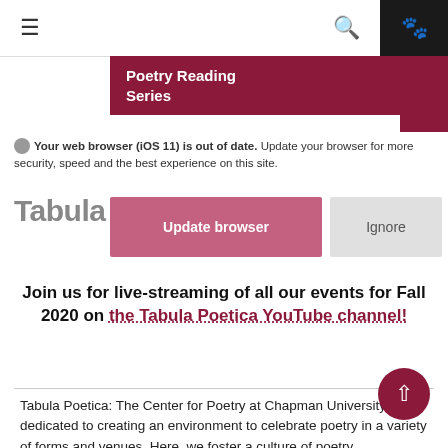≡  🔍  🐾
Poetry Reading Series
Your web browser (iOS 11) is out of date. Update your browser for more security, speed and the best experience on this site.
Tabula Poetica
Update browser   Ignore
Join us for live-streaming of all our events for Fall 2020 on the Tabula Poetica YouTube channel!
Tabula Poetica: The Center for Poetry at Chapman University is dedicated to creating an environment to celebrate poetry in a variety of forms and venues. Here, we foster a culture of poetry appreciation by engaging and